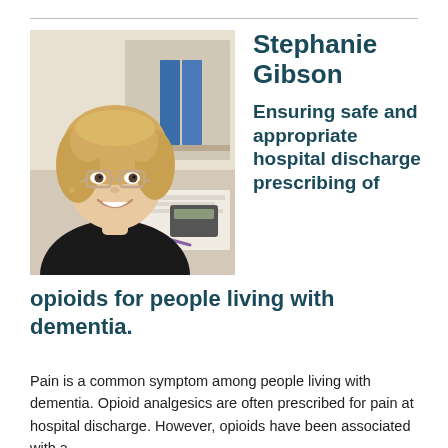[Figure (photo): Portrait photo of Stephanie Gibson, a smiling woman with blonde curly hair and glasses, wearing a black top, seated at a desk with office items and blue binders in the background.]
Stephanie Gibson
Ensuring safe and appropriate hospital discharge prescribing of opioids for people living with dementia.
Pain is a common symptom among people living with dementia. Opioid analgesics are often prescribed for pain at hospital discharge. However, opioids have been associated with a